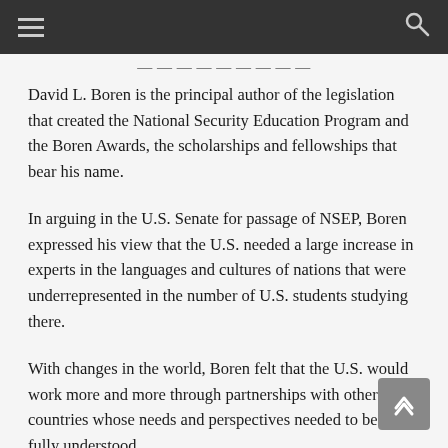David L. Boren is the principal author of the legislation that created the National Security Education Program and the Boren Awards, the scholarships and fellowships that bear his name.
In arguing in the U.S. Senate for passage of NSEP, Boren expressed his view that the U.S. needed a large increase in experts in the languages and cultures of nations that were underrepresented in the number of U.S. students studying there.
With changes in the world, Boren felt that the U.S. would work more and more through partnerships with other countries whose needs and perspectives needed to be more fully understood.